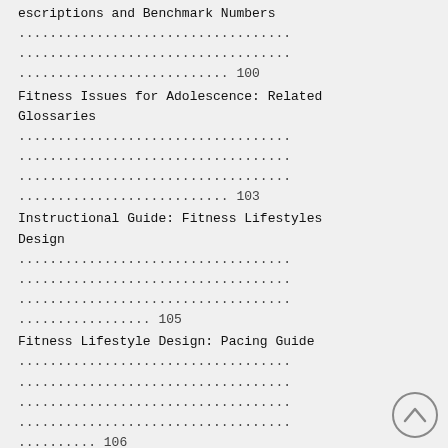escriptions and Benchmark Numbers ......................................... ......................................... ......................................... 100
Fitness Issues for Adolescence: Related Glossaries ......................................... ......................................... ......................................... ......................................... 103
Instructional Guide: Fitness Lifestyles Design ......................................... ......................................... ......................................... ........... 105
Fitness Lifestyle Design: Pacing Guide ......................................... ......................................... ......................................... ......................................... ........... 106
Fitness Lifestyle Design: Course Descriptions and Benchmark Numbers